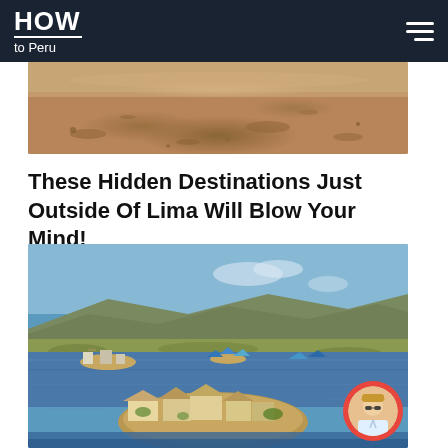HOW to Peru
[Figure (photo): Aerial view of a dry desert landscape with sandy brown terrain, rocks and sparse ground cover, taken in Peru]
These Hidden Destinations Just Outside Of Lima Will Blow Your Mind!
[Figure (photo): Aerial view of floating islands on a blue lake (Lake Titicaca), showing reed islands with small buildings and boats, surrounded by green shore vegetation and hills in the background]